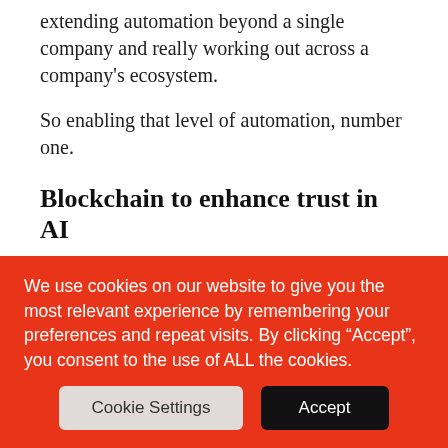extending automation beyond a single company and really working out across a company's ecosystem.
So enabling that level of automation, number one.
Blockchain to enhance trust in AI
Number two, I mentioned AI. You know, as a set of technologists just watching what's happening in the world around trust. AI needs a food label. As things mature, whether it's food or drugs or whatever, you can look at a label to say, okay, what's in this thing? Where did it come from?
And AI needs that as we speak, to get it to the next level of
We use cookies on our website to give you the most relevant experience by remembering your preferences and repeat visits. By clicking “Accept”, you consent to the use of ALL the cookies.